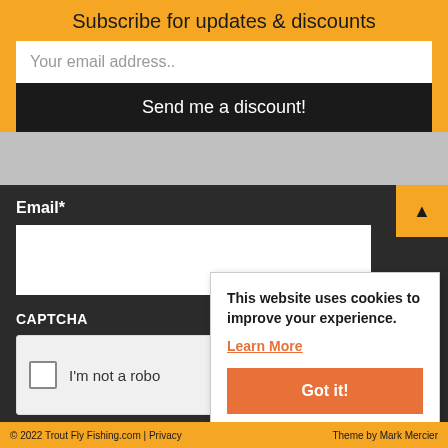Subscribe for updates & discounts
Your email address..
Send me a discount!
Email*
CAPTCHA
I'm not a robot
This website uses cookies to improve your experience.
Learn More
Got it!
© 2022 Trout Fly Fishing.com | Privacy     Theme by Mark Mercier